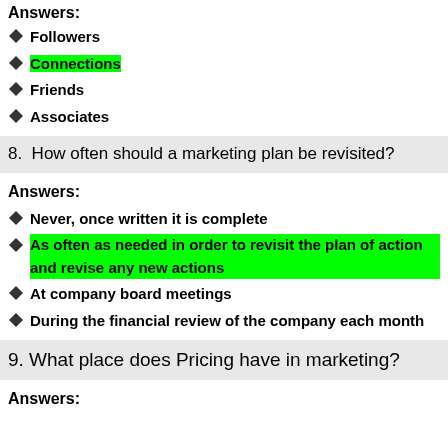Answers:
Followers
Connections
Friends
Associates
8. How often should a marketing plan be revisited?
Answers:
Never, once written it is complete
As often as needed in order to revisit the plan of action and revise any new actions
At company board meetings
During the financial review of the company each month
9. What place does Pricing have in marketing?
Answers: